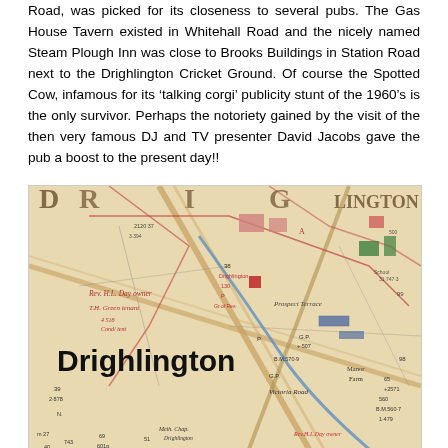Road, was picked for its closeness to several pubs. The Gas House Tavern existed in Whitehall Road and the nicely named Steam Plough Inn was close to Brooks Buildings in Station Road next to the Drighlington Cricket Ground. Of course the Spotted Cow, infamous for its 'talking corgi' publicity stunt of the 1960's is the only survivor. Perhaps the notoriety gained by the visit of the then very famous DJ and TV presenter David Jacobs gave the pub a boost to the present day!!
[Figure (map): Historical map of Drighlington showing roads, buildings, plot boundaries, landowners (Rev. H.L. Day, T.H. Green), Prospect Terrace, Victoria Road, Manor Farm, School, and the large label 'Drighlington' in bold text. Map shows colored boundary lines and plot numbers.]